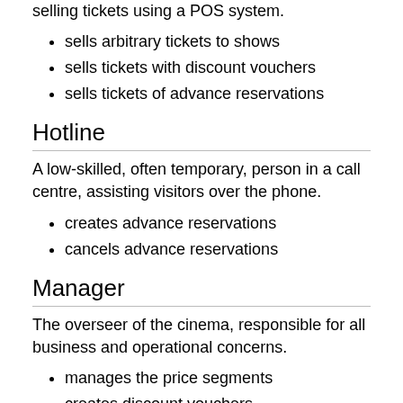selling tickets using a POS system.
sells arbitrary tickets to shows
sells tickets with discount vouchers
sells tickets of advance reservations
Hotline
A low-skilled, often temporary, person in a call centre, assisting visitors over the phone.
creates advance reservations
cancels advance reservations
Manager
The overseer of the cinema, responsible for all business and operational concerns.
manages the price segments
creates discount vouchers
monitors the use of vouchers